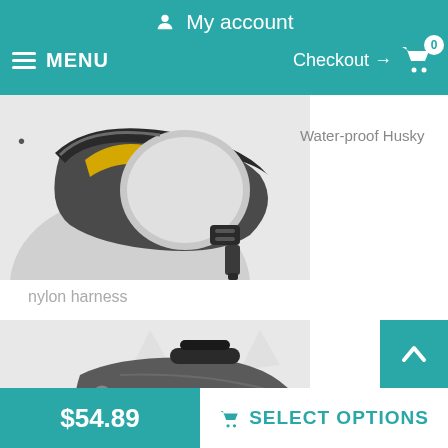My account
MENU  Checkout → 0
[Figure (photo): Close-up of a dark gray and black water-proof dog harness with yellow accent stripe, shown on a Husky dog]
Water-proof Husky
nylon harness
[Figure (photo): Gray and black dog life jacket/harness with yellow accent stripe and handle on top, shown on a Husky dog from behind]
Extra light and soft
$54.89   SELECT OPTIONS